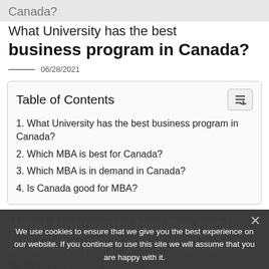Canada?
What University has the best business program in Canada?
06/28/2021
| Table of Contents |
| --- |
| 1. What University has the best business program in Canada? |
| 2. Which MBA is best for Canada? |
| 3. Which MBA is in demand in Canada? |
| 4. Is Canada good for MBA? |
What University has the best business program in Canada?
We use cookies to ensure that we give you the best experience on our website. If you continue to use this site we will assume that you are happy with it.
cGill University Desautels Faculty of